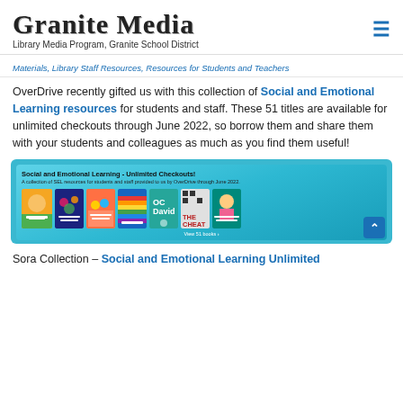Granite Media
Library Media Program, Granite School District
Materials, Library Staff Resources, Resources for Students and Teachers
OverDrive recently gifted us with this collection of Social and Emotional Learning resources for students and staff. These 51 titles are available for unlimited checkouts through June 2022, so borrow them and share them with your students and colleagues as much as you find them useful!
[Figure (screenshot): Screenshot of Sora/OverDrive collection page showing 'Social and Emotional Learning - Unlimited Checkouts!' banner with book covers including Practicing Self-Care, Flutters Más Allá, All About Respect, Rainbow Jubilee, OC David, The Cheat, and En Una Relación Abusiva]
Sora Collection – Social and Emotional Learning Unlimited